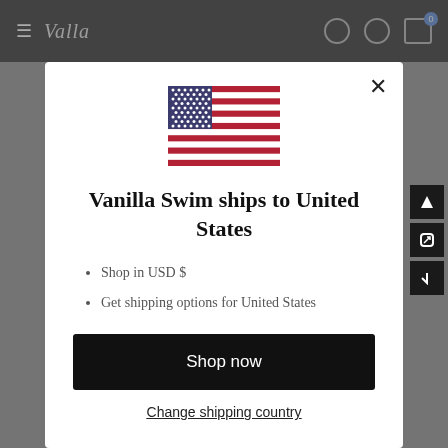[Figure (screenshot): Website header with dark navigation bar showing hamburger menu, logo, search and cart icons on dark background]
[Figure (illustration): US flag SVG inline illustration]
Vanilla Swim ships to United States
Shop in USD $
Get shipping options for United States
Shop now
Change shipping country